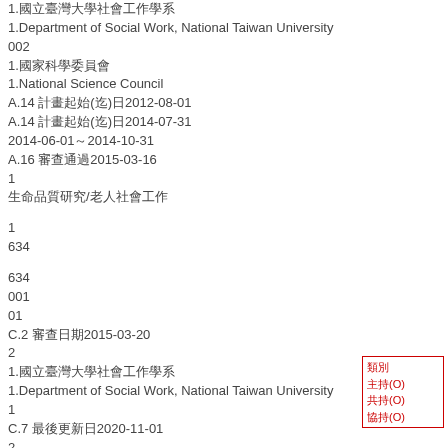1.國立臺灣大學社會工作學系
1.Department of Social Work, National Taiwan University
002
1.國家科學委員會
1.National Science Council
A.14 計畫起始(迄)日2012-08-01
A.14 計畫起始(迄)日2014-07-31
2014-06-01～2014-10-31
A.16 審查通過2015-03-16
1
生命品質研究/老人社會工作
1
634
634
001
01
C.2 審查日期2015-03-20
2
1.國立臺灣大學社會工作學系
1.Department of Social Work, National Taiwan University
1
C.7 最後更新日2020-11-01
2
008
1
1
1
2
2
2
類別
主持(O)
共持(O)
協持(O)